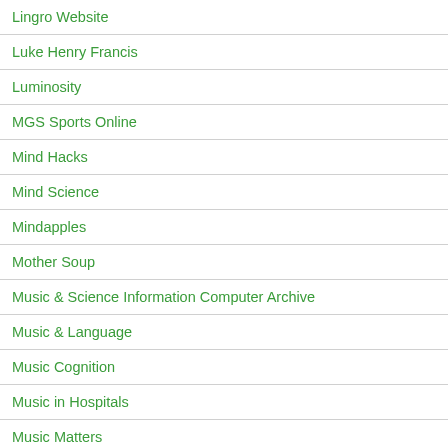Lingro Website
Luke Henry Francis
Luminosity
MGS Sports Online
Mind Hacks
Mind Science
Mindapples
Mother Soup
Music & Science Information Computer Archive
Music & Language
Music Cognition
Music in Hospitals
Music Matters